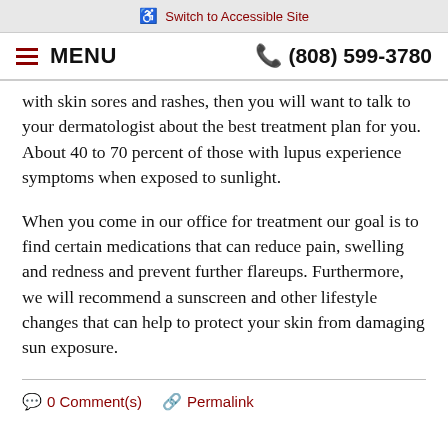♿ Switch to Accessible Site
≡ MENU   📞 (808) 599-3780
with skin sores and rashes, then you will want to talk to your dermatologist about the best treatment plan for you. About 40 to 70 percent of those with lupus experience symptoms when exposed to sunlight.
When you come in our office for treatment our goal is to find certain medications that can reduce pain, swelling and redness and prevent further flareups. Furthermore, we will recommend a sunscreen and other lifestyle changes that can help to protect your skin from damaging sun exposure.
💬 0 Comment(s)   🔗 Permalink